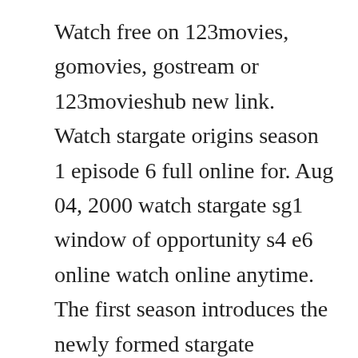Watch free on 123movies, gomovies, gostream or 123movieshub new link. Watch stargate origins season 1 episode 6 full online for. Aug 04, 2000 watch stargate sg1 window of opportunity s4 e6 online watch online anytime. The first season introduces the newly formed stargate command. Shanks continued to have a recurring role in season 6, rejoined the cast in season 7. If you have amazon prime the episodes are all free. Sg1 returns to cimmeria, and finds that without protection from the asgard the planet has been invaded by the goauld. Click here and start watching